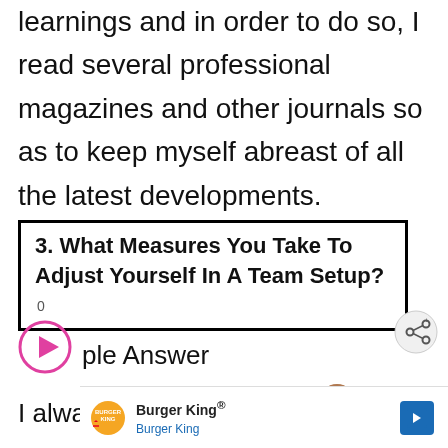learnings and in order to do so, I read several professional magazines and other journals so as to keep myself abreast of all the latest developments.
3. What Measures You Take To Adjust Yourself In A Team Setup?
Sample Answer
I always communicate with my
[Figure (other): Burger King advertisement banner with logo, brand name, and navigation arrow icon]